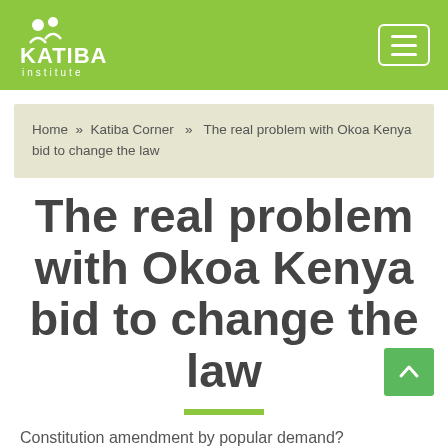Katiba Institute
Home » Katiba Corner » The real problem with Okoa Kenya bid to change the law
The real problem with Okoa Kenya bid to change the law
Constitution amendment by popular demand?
The real problem with Okoa Kenya's proposal for...